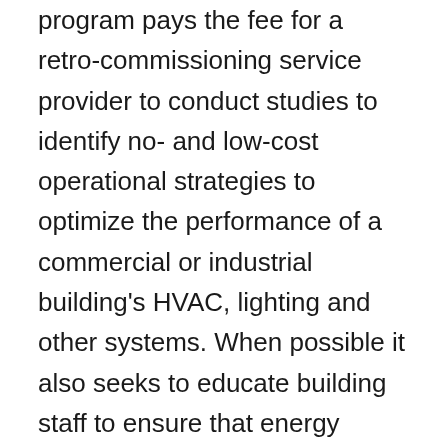program pays the fee for a retro-commissioning service provider to conduct studies to identify no- and low-cost operational strategies to optimize the performance of a commercial or industrial building's HVAC, lighting and other systems. When possible it also seeks to educate building staff to ensure that energy savings are sustained going forward. The program serves a wide range of customer segments and building types, from large office high-rises to hospitals, schools and industrial buildings. This program is one of the most cost-effective in the ComEd portfolio, and has been able to help customers significantly reduce energy consumption. So far